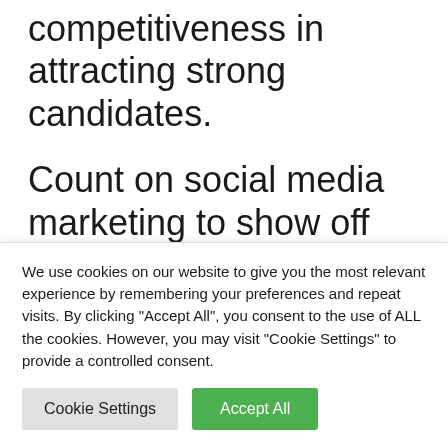competitiveness in attracting strong candidates.
Count on social media marketing to show off your company's outstanding culture and company values. Post the great things your employees are doing, from company events to volunteer activities. Want to demonstrate how your Mission
We use cookies on our website to give you the most relevant experience by remembering your preferences and repeat visits. By clicking "Accept All", you consent to the use of ALL the cookies. However, you may visit "Cookie Settings" to provide a controlled consent.
Cookie Settings
Accept All